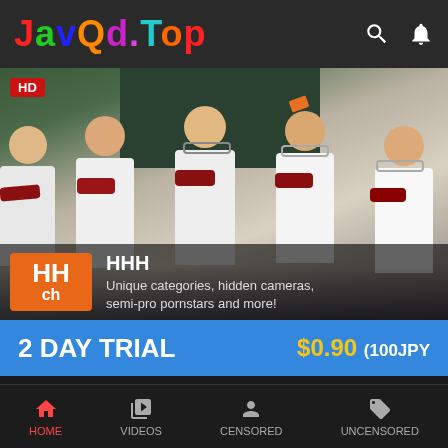JavQd.Top
[Figure (screenshot): Banner advertisement showing HHH channel. Features photo of five young women in school uniforms (white shirts, red/dark striped ties). HD badge in top-left corner. HHH channel logo (orange background with HH and ch text). Overlay text: HHH / Unique categories, hidden cameras, semi-pro pornstars and more! Blue trial banner at bottom: 2 DAY TRIAL  $0.90 (100JPY]
HHH
HOME  VIDEOS  CENSORED  UNCENSORED